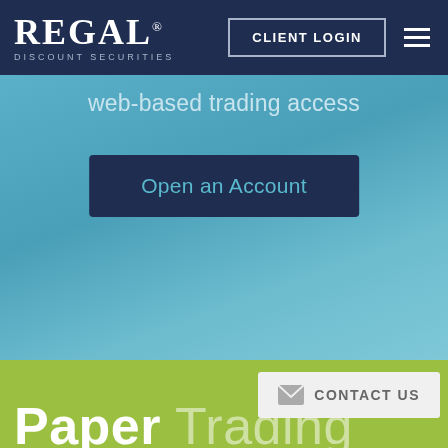[Figure (screenshot): Regal Discount Securities navigation bar with logo, CLIENT LOGIN button, and hamburger menu on dark navy background]
web-based trading access
Open an Account
Paper Trading
CONTACT US